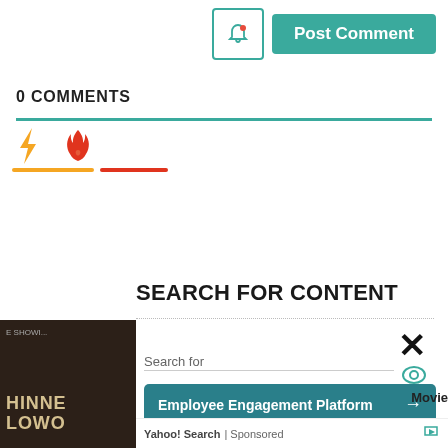[Figure (screenshot): Top bar with bell notification button and green Post Comment button]
0 COMMENTS
[Figure (screenshot): Comment sorting icons: lightning bolt (orange) and flame (red), with colored underline bars]
SEARCH FOR CONTENT
[Figure (screenshot): Search input area with X close button and eye icon, Search for label, followed by sponsored Yahoo search ads: Employee Engagement Platform and Best Rated Business CRM Software with arrows]
Yahoo! Search | Sponsored